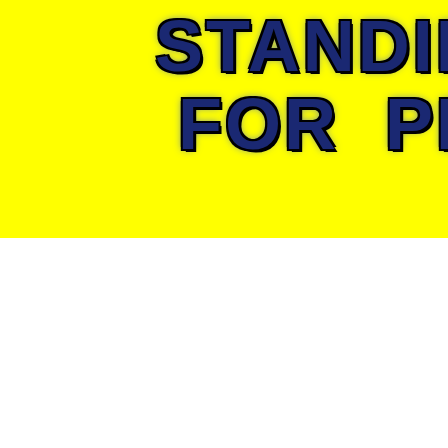STANDING FOR PEA
Scientists advise m... mushrooms to prese... aroma.
--05-05-2009--
New Point of View on Be
[Figure (map): Map showing Bermuda Triangle area in the Atlantic Ocean]
Researchers fr... city of Tumen ... hypothesis of the ... mystery. Scientists ... effect with accu... hydrates in Atlantic w...
--29-04-2009--